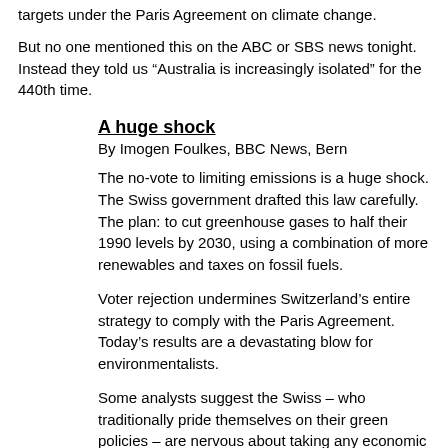targets under the Paris Agreement on climate change.
But no one mentioned this on the ABC or SBS news tonight. Instead they told us “Australia is increasingly isolated” for the 440th time.
A huge shock
By Imogen Foulkes, BBC News, Bern
The no-vote to limiting emissions is a huge shock. The Swiss government drafted this law carefully. The plan: to cut greenhouse gases to half their 1990 levels by 2030, using a combination of more renewables and taxes on fossil fuels.
Voter rejection undermines Switzerland’s entire strategy to comply with the Paris Agreement. Today’s results are a devastating blow for environmentalists.
Some analysts suggest the Swiss – who traditionally pride themselves on their green policies – are nervous about taking any economic risks while the country